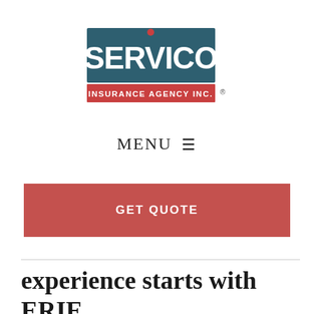[Figure (logo): SERVICO Insurance Agency Inc. logo — dark teal rectangle with white bold text SERVICO (red dot over the i), red rectangle below with white text INSURANCE AGENCY INC., registered trademark symbol to the right]
MENU ≡
GET QUOTE
experience starts with ERIE.